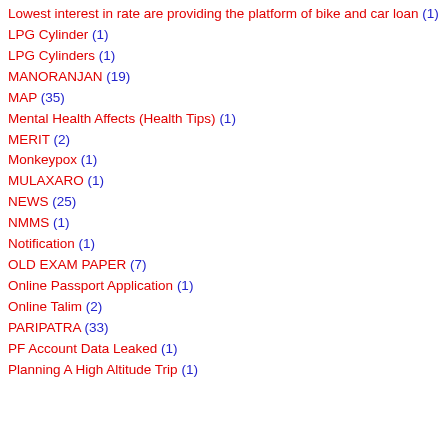Lowest interest in rate are providing the platform of bike and car loan (1)
LPG Cylinder (1)
LPG Cylinders (1)
MANORANJAN (19)
MAP (35)
Mental Health Affects (Health Tips) (1)
MERIT (2)
Monkeypox (1)
MULAXARO (1)
NEWS (25)
NMMS (1)
Notification (1)
OLD EXAM PAPER (7)
Online Passport Application (1)
Online Talim (2)
PARIPATRA (33)
PF Account Data Leaked (1)
Planning A High Altitude Trip (1)